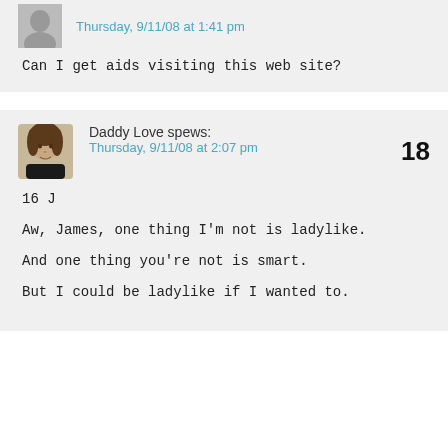Thursday, 9/11/08 at 1:41 pm
Can I get aids visiting this web site?
Daddy Love spews:
Thursday, 9/11/08 at 2:07 pm
18
16 J
Aw, James, one thing I'm not is ladylike.
And one thing you're not is smart.
But I could be ladylike if I wanted to.